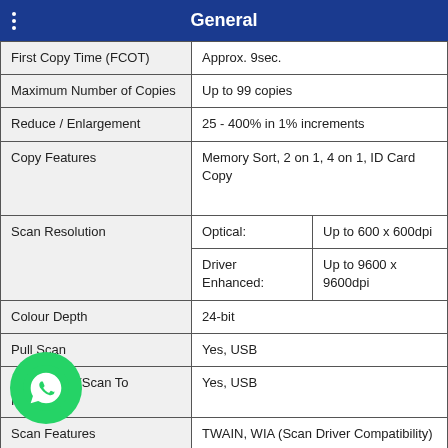General
| Feature | Value |
| --- | --- |
| First Copy Time (FCOT) | Approx. 9sec. |
| Maximum Number of Copies | Up to 99 copies |
| Reduce / Enlargement | 25 - 400% in 1% increments |
| Copy Features | Memory Sort, 2 on 1, 4 on 1, ID Card Copy |
| Scan Resolution | Optical: Up to 600 x 600dpi | Driver Enhanced: Up to 9600 x 9600dpi |
| Colour Depth | 24-bit |
| Pull Scan | Yes, USB |
| Push Scan (Scan To F ToolBox | Yes, USB |
| Scan Features | TWAIN, WIA (Scan Driver Compatibility) |